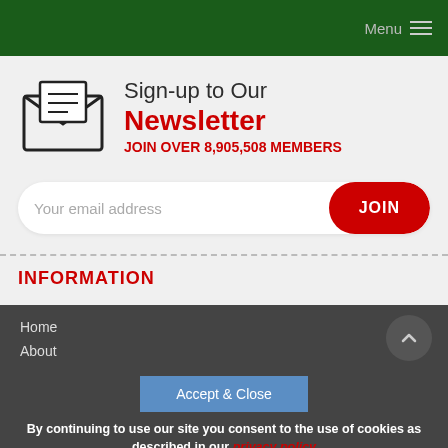Menu
Sign-up to Our Newsletter JOIN OVER 8,905,508 MEMBERS
Your email address
INFORMATION
Home
About
Contribute
Sponsors
Contacts
By continuing to use our site you consent to the use of cookies as described in our privacy policy